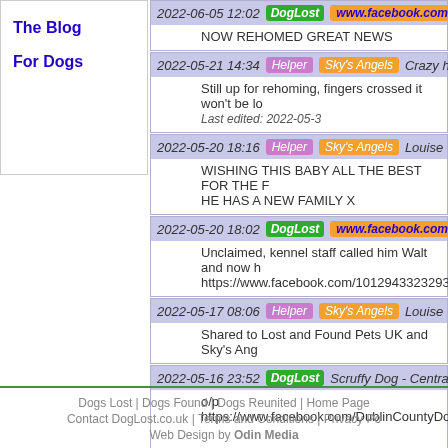The Blog
For Dogs
2022-06-05 12:02 | DogLost | www.facebook.com | N
NOW REHOMED GREAT NEWS
2022-05-21 14:34 | Helper | Sky's Angels | Crazy hou
Still up for rehoming, fingers crossed it won't be lo
Last edited: 2022-05-3
2022-05-20 18:16 | Helper | Sky's Angels | Louise
WISHING THIS BABY ALL THE BEST FOR THE F HE HAS A NEW FAMILY X
2022-05-20 18:02 | DogLost | www.facebook.com | N
Unclaimed, kennel staff called him Walt and now h https://www.facebook.com/101294332329341/pos
2022-05-17 08:06 | Helper | Sky's Angels | Louise
Shared to Lost and Found Pets UK and Sky's Ang
2022-05-16 23:52 | DogLost | Scruffy Dog - Central T
o/p
https://www.facebook.com/DublinCountyDogShelt
Dogs Lost | Dogs Found | Dogs Reunited | Home Page | Contact DogLost.co.uk | Terms and Conditions | Privacy Po Web Design by Odin Media